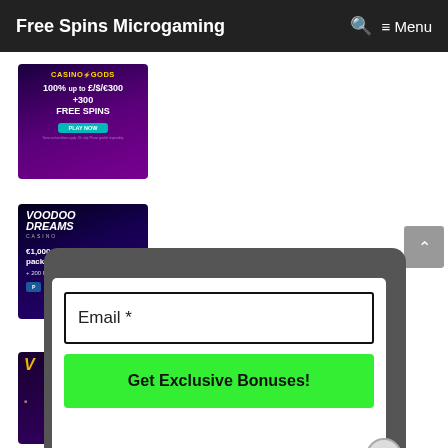Free Spins Microgaming  🔍  ≡ Menu
[Figure (screenshot): Casino Gods ad banner: 100% up to £/$/€300 + 300 Free Spins, Play Now button]
[Figure (screenshot): Voodoo Dreams Casino ad banner: €1,000 welcome package + 200 Free Spins]
[Figure (screenshot): Partial third casino ad banner, partially obscured by popup]
[Figure (screenshot): Popup modal with email input field labeled 'Email *' and green 'Get Exclusive Bonuses!' button, with close X button]